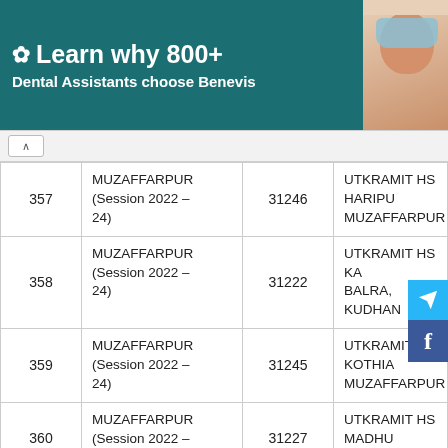[Figure (other): Advertisement banner: snowflake icon with text 'Learn why 800+ Dental Assistants choose Benevis' on teal background with photo of person in dental mask]
| # | District | Code | School Name |
| --- | --- | --- | --- |
| 357 | MUZAFFARPUR (Session 2022 – 24) | 31246 | UTKRAMIT HS HARIPU MUZAFFARPUR |
| 358 | MUZAFFARPUR (Session 2022 – 24) | 31222 | UTKRAMIT HS KA BALRA, KUDHAN |
| 359 | MUZAFFARPUR (Session 2022 – 24) | 31245 | UTKRAMIT HS KOTHIA MUZAFFARPUR |
| 360 | MUZAFFARPUR (Session 2022 – 24) | 31227 | UTKRAMIT HS MADHU MUZAFFARPUR |